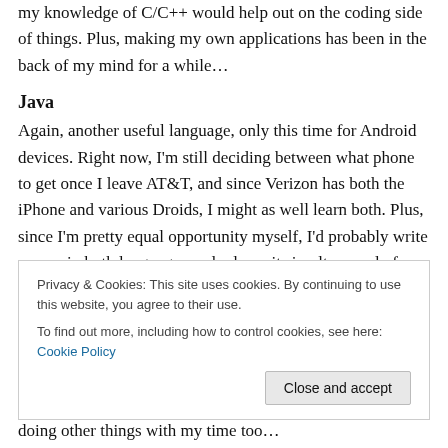my knowledge of C/C++ would help out on the coding side of things. Plus, making my own applications has been in the back of my mind for a while…
Java
Again, another useful language, only this time for Android devices. Right now, I'm still deciding between what phone to get once I leave AT&T, and since Verizon has both the iPhone and various Droids, I might as well learn both. Plus, since I'm pretty equal opportunity myself, I'd probably write an app in both languages and release it simultaneously for when I get to that point. And hey
Privacy & Cookies: This site uses cookies. By continuing to use this website, you agree to their use.
To find out more, including how to control cookies, see here: Cookie Policy
Close and accept
doing other things with my time too…